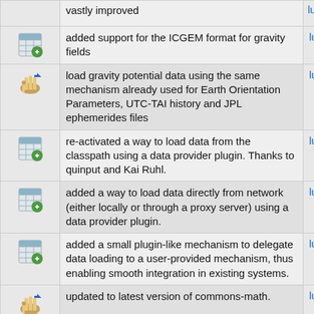| icon | description | link |
| --- | --- | --- |
| [spreadsheet icon] | vastly improved | luc |
| [spreadsheet icon] | added support for the ICGEM format for gravity fields | luc |
| [hand icon] | load gravity potential data using the same mechanism already used for Earth Orientation Parameters, UTC-TAI history and JPL ephemerides files | luc |
| [spreadsheet icon] | re-activated a way to load data from the classpath using a data provider plugin. Thanks to quinput and Kai Ruhl. | luc |
| [spreadsheet icon] | added a way to load data directly from network (either locally or through a proxy server) using a data provider plugin. | luc |
| [spreadsheet icon] | added a small plugin-like mechanism to delegate data loading to a user-provided mechanism, thus enabling smooth integration in existing systems. | luc |
| [hand icon] | updated to latest version of commons-math. | luc |